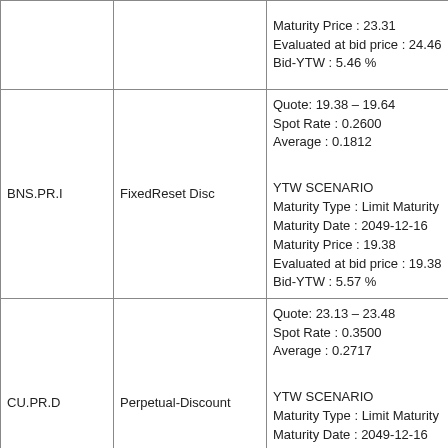| Ticker | Type | Details |
| --- | --- | --- |
|  |  | Maturity Price : 23.31
Evaluated at bid price : 24.46
Bid-YTW : 5.46 % |
| BNS.PR.I | FixedReset Disc | Quote: 19.38 – 19.64
Spot Rate : 0.2600
Average : 0.1812

YTW SCENARIO
Maturity Type : Limit Maturity
Maturity Date : 2049-12-16
Maturity Price : 19.38
Evaluated at bid price : 19.38
Bid-YTW : 5.57 % |
| CU.PR.D | Perpetual-Discount | Quote: 23.13 – 23.48
Spot Rate : 0.3500
Average : 0.2717

YTW SCENARIO
Maturity Type : Limit Maturity
Maturity Date : 2049-12-16
Maturity Price : 22.85
Evaluated at bid price : 23.13
Bid-YTW : 5.33 % |
|  |  | Quote: 21.28 – 21.57 |